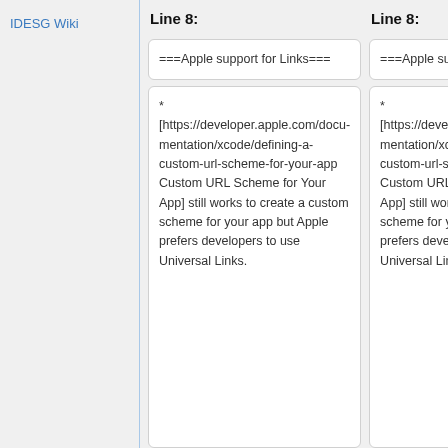IDESG Wiki
Line 8:
Line 8:
===Apple support for Links===
===Apple support for Links===
* [https://developer.apple.com/documentation/xcode/defining-a-custom-url-scheme-for-your-app Custom URL Scheme for Your App] still works to create a custom scheme for your app but Apple prefers developers to use Universal Links.
* [https://developer.apple.com/documentation/xcode/defining-a-custom-url-scheme-for-your-app Custom URL Scheme for Your App] still works to create a custom scheme for your app but Apple prefers developers to use Universal Links.